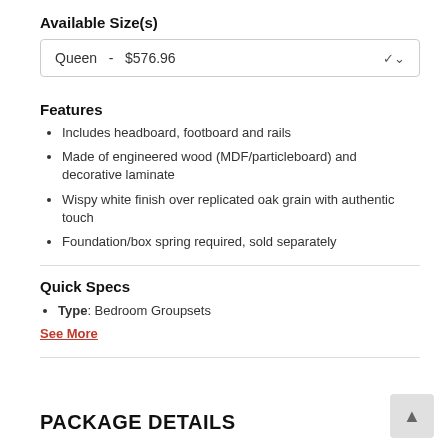Available Size(s)
Queen  -  $576.96
Features
Includes headboard, footboard and rails
Made of engineered wood (MDF/particleboard) and decorative laminate
Wispy white finish over replicated oak grain with authentic touch
Foundation/box spring required, sold separately
Quick Specs
Type: Bedroom Groupsets
See More
PACKAGE DETAILS